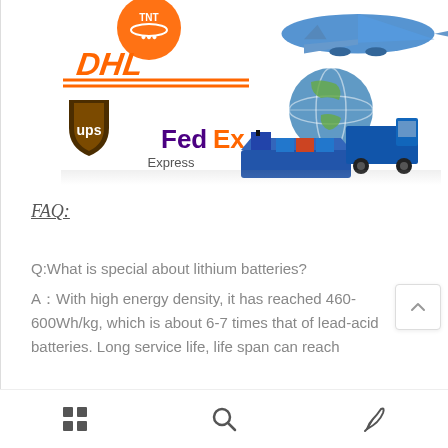[Figure (logo): Shipping carrier logos (TNT, DHL, UPS, FedEx Express) with freight imagery including airplane, globe, cargo ship, and truck]
FAQ:
Q:What is special about lithium batteries?
A：With high energy density, it has reached 460-600Wh/kg, which is about 6-7 times that of lead-acid batteries. Long service life, life span can reach